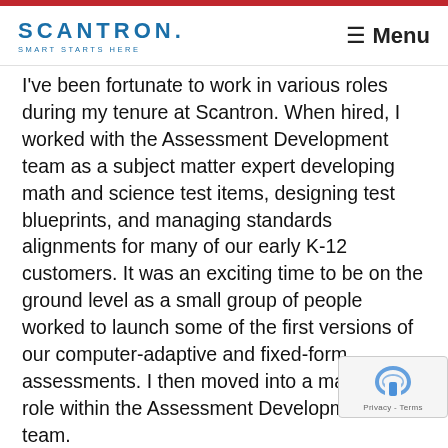SCANTRON. SMART STARTS HERE | Menu
I've been fortunate to work in various roles during my tenure at Scantron. When hired, I worked with the Assessment Development team as a subject matter expert developing math and science test items, designing test blueprints, and managing standards alignments for many of our early K-12 customers. It was an exciting time to be on the ground level as a small group of people worked to launch some of the first versions of our computer-adaptive and fixed-form assessments. I then moved into a manager role within the Assessment Development team.
After a couple of years, I pivoted to the client program management and professional services team. For the next 10 to 15 years, I worked in various roles spanning client program management...